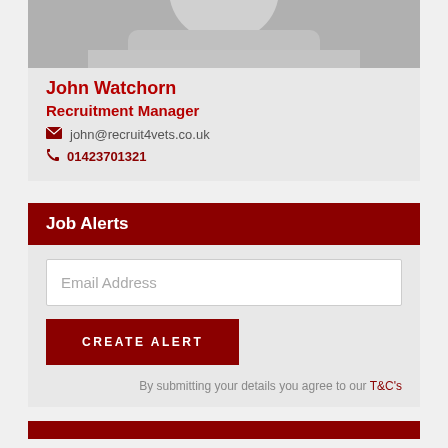[Figure (photo): Partial black and white photo of a man in a light shirt, cropped at the top of the page]
John Watchorn
Recruitment Manager
john@recruit4vets.co.uk
01423701321
Job Alerts
Email Address
CREATE ALERT
By submitting your details you agree to our T&C's